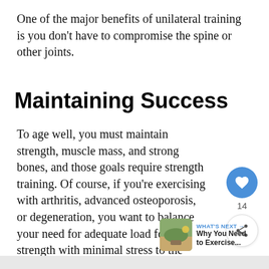One of the major benefits of unilateral training is you don't have to compromise the spine or other joints.
Maintaining Success
To age well, you must maintain strength, muscle mass, and strong bones, and those goals require strength training. Of course, if you're exercising with arthritis, advanced osteoporosis, or degeneration, you want to balance your need for adequate load for strength with minimal stress to the spine to prevent injury.